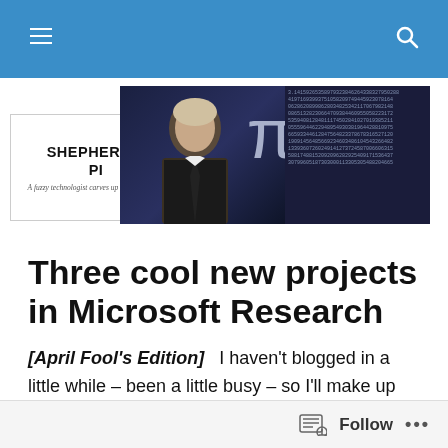Navigation bar with hamburger menu and search icon
[Figure (screenshot): Shepherd's Pi blog header banner showing a man in dark background, large pi symbol, Shepherd's Pi text, tagline 'A fuzzy technologist carves up facts & figures', and number background panel]
Three cool new projects in Microsoft Research
[April Fool's Edition]  I haven't blogged in a little while – been a little busy – so I'll make up for it with a burst of three cool new things coming out of the inventive lab work at Microsoft Research – improving Twitter, computer performance, and mobile phones.
Follow ...